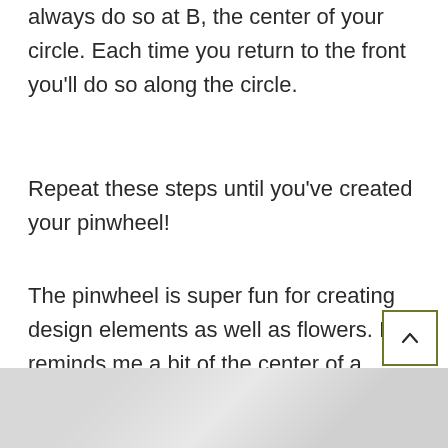always do so at B, the center of your circle. Each time you return to the front you'll do so along the circle.
Repeat these steps until you've created your pinwheel!
The pinwheel is super fun for creating design elements as well as flowers. It reminds me a bit of the center of a poppy flower!
[Figure (photo): Partial view of a light grey textured image strip at the bottom of the page]